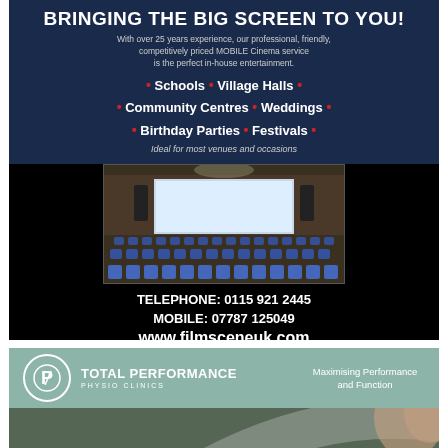BRINGING THE BIG SCREEN TO YOU!
With over 25 years experience, our professional, friendly, competitively priced MOBILE Cinema service is the perfect in-house entertainment.
• Schools • Village Halls • • Community Centres • Weddings • • Birthday Parties • Festivals •
Ideal for most venues and occasions
[Figure (photo): Interior of a cinema or conference hall with rows of blue chairs and a large projection screen at the front]
TELEPHONE: 0115 921 2445
MOBILE: 07787 125049
www.filmsceneuk.com
[Figure (logo): Total Performance Physio Clinics logo with circular P symbol]
TOTAL PERFORMANCE PHYSIO CLINICS
Maximising Performance and Function
[Figure (photo): Partial photo of a person's face on the right side of the bottom ad]